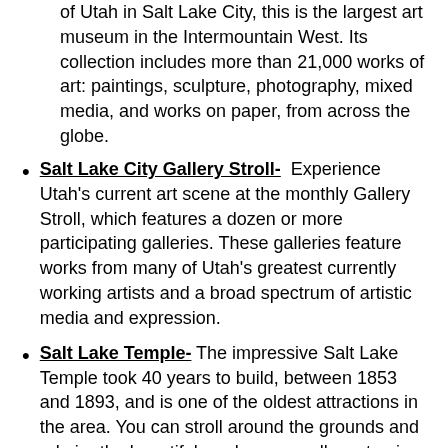of Utah in Salt Lake City, this is the largest art museum in the Intermountain West. Its collection includes more than 21,000 works of art: paintings, sculpture, photography, mixed media, and works on paper, from across the globe.
Salt Lake City Gallery Stroll- Experience Utah's current art scene at the monthly Gallery Stroll, which features a dozen or more participating galleries. These galleries feature works from many of Utah's greatest currently working artists and a broad spectrum of artistic media and expression.
Salt Lake Temple- The impressive Salt Lake Temple took 40 years to build, between 1853 and 1893, and is one of the oldest attractions in the area. You can stroll around the grounds and admire the beautiful gardens as well as stop in the South Visitors' Center to see a scale model of the temple and its interior.
George S Eccles Dinosaur Park- this Dinosaur park in Ogden is full of creatures from prehistoric crawlers, to predators and even flying reptiles that are brought to life by robotics, artistic details, and a state-of-the-art sound